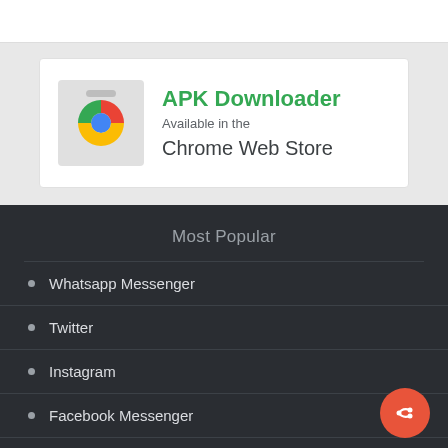[Figure (logo): APK Downloader banner with Chrome logo – Available in the Chrome Web Store]
Most Popular
Whatsapp Messenger
Twitter
Instagram
Facebook Messenger
Telegram